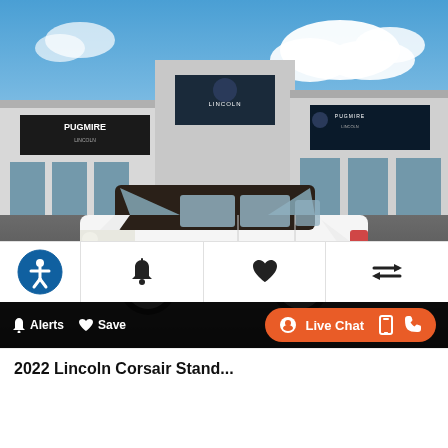[Figure (photo): White 2022 Lincoln Corsair SUV parked in front of Pugmire Lincoln dealership building with blue sky and clouds in background]
Alerts | Save | Live Chat
2022 Lincoln Corsair Stand...